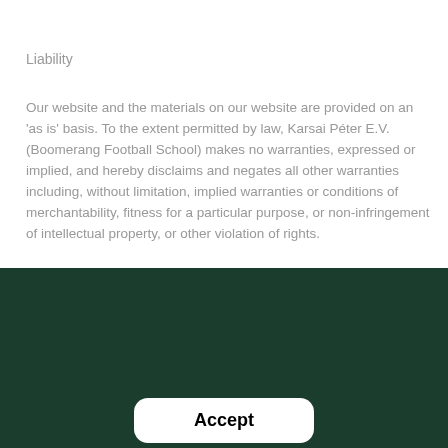Liability
Our website and the materials on our website are provided on an 'as is' basis. To the extent permitted by law, Karsai Péter E.V. (Boomerang Football School) makes no warranties, expressed or implied, and hereby disclaims and negates all other warranties including, without limitation, implied warranties or conditions of merchantability, fitness for a particular purpose, or non-infringement of intellectual property, or other violation of rights.
Play like a football star: use cookies!
We use cookies to help improve your experience of our website.
Cookie Policy | Terms Of Service | Privacy Policy
Accept